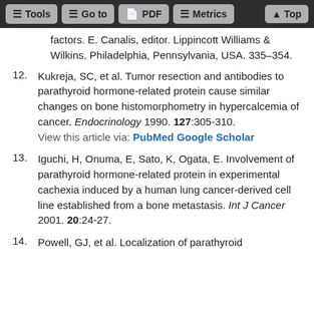Tools | Go to | PDF | Metrics | Top
factors. E. Canalis, editor. Lippincott Williams & Wilkins. Philadelphia, Pennsylvania, USA. 335–354.
12. Kukreja, SC, et al. Tumor resection and antibodies to parathyroid hormone-related protein cause similar changes on bone histomorphometry in hypercalcemia of cancer. Endocrinology 1990. 127:305-310. View this article via: PubMed Google Scholar
13. Iguchi, H, Onuma, E, Sato, K, Ogata, E. Involvement of parathyroid hormone-related protein in experimental cachexia induced by a human lung cancer-derived cell line established from a bone metastasis. Int J Cancer 2001. 20:24-27.
14. Powell, GJ, et al. Localization of parathyroid